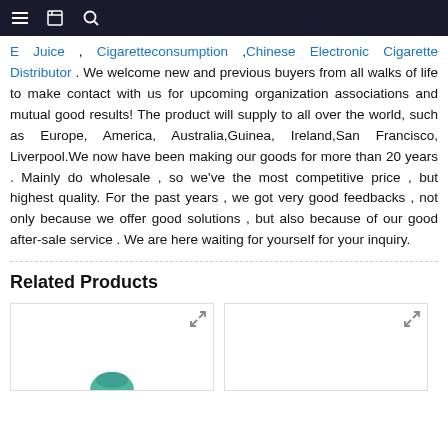navigation bar with hamburger menu, bookmark icon, and search icon
E Juice , Cigaretteconsumption ,Chinese Electronic Cigarette Distributor . We welcome new and previous buyers from all walks of life to make contact with us for upcoming organization associations and mutual good results! The product will supply to all over the world, such as Europe, America, Australia,Guinea, Ireland,San Francisco, Liverpool.We now have been making our goods for more than 20 years . Mainly do wholesale , so we've the most competitive price , but highest quality. For the past years , we got very good feedbacks , not only because we offer good solutions , but also because of our good after-sale service . We are here waiting for yourself for your inquiry.
Related Products
[Figure (photo): Product card 1 with expand icon, partially visible product image at bottom]
[Figure (photo): Product card 2 with expand icon, empty card area]